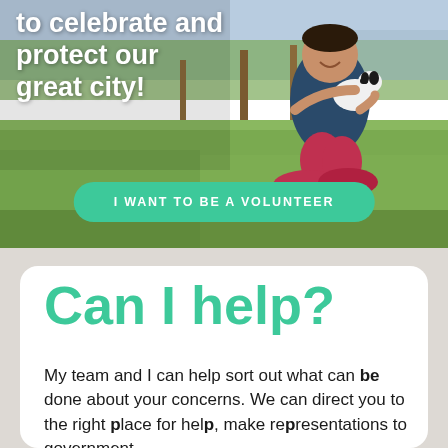[Figure (photo): Outdoor park photo showing a smiling man sitting cross-legged on grass holding a small dog, with trees and cars in the background]
to celebrate and protect our great city!
I WANT TO BE A VOLUNTEER
Can I help?
My team and I can help sort out what can be done about your concerns. We can direct you to the right place for help, make representations to government departments and help build...